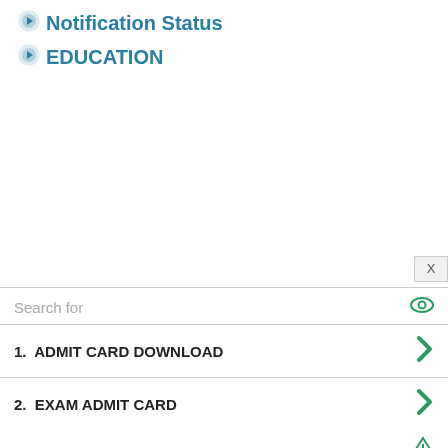Notification Status
EDUCATION
[Figure (screenshot): Advertisement box with search bar and two list items: 1. ADMIT CARD DOWNLOAD, 2. EXAM ADMIT CARD, with green chevron arrows on the right.]